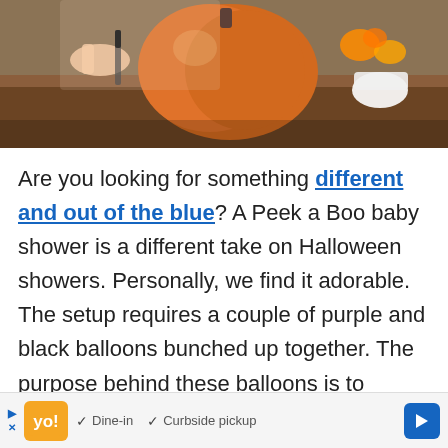[Figure (photo): Photo of hands carving a pumpkin on a wooden table with oranges and decorations in the background]
Are you looking for something different and out of the blue? A Peek a Boo baby shower is a different take on Halloween showers. Personally, we find it adorable. The setup requires a couple of purple and black balloons bunched up together. The purpose behind these balloons is to welcome you
[Figure (screenshot): Advertisement bar: play/close buttons, restaurant logo, Dine-in checkmark, Curbside pickup checkmark, navigation arrow button]